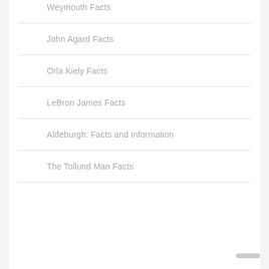Weymouth Facts
John Agard Facts
Orla Kiely Facts
LeBron James Facts
Aldeburgh: Facts and Information
The Tollund Man Facts